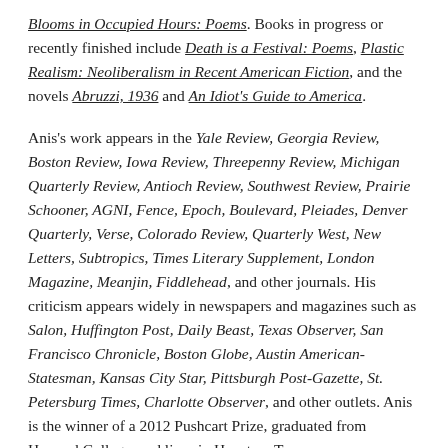Blooms in Occupied Hours: Poems. Books in progress or recently finished include Death is a Festival: Poems, Plastic Realism: Neoliberalism in Recent American Fiction, and the novels Abruzzi, 1936 and An Idiot's Guide to America.
Anis's work appears in the Yale Review, Georgia Review, Boston Review, Iowa Review, Threepenny Review, Michigan Quarterly Review, Antioch Review, Southwest Review, Prairie Schooner, AGNI, Fence, Epoch, Boulevard, Pleiades, Denver Quarterly, Verse, Colorado Review, Quarterly West, New Letters, Subtropics, Times Literary Supplement, London Magazine, Meanjin, Fiddlehead, and other journals. His criticism appears widely in newspapers and magazines such as Salon, Huffington Post, Daily Beast, Texas Observer, San Francisco Chronicle, Boston Globe, Austin American-Statesman, Kansas City Star, Pittsburgh Post-Gazette, St. Petersburg Times, Charlotte Observer, and other outlets. Anis is the winner of a 2012 Pushcart Prize, graduated from Harvard College, and lives in Houston, Texas.